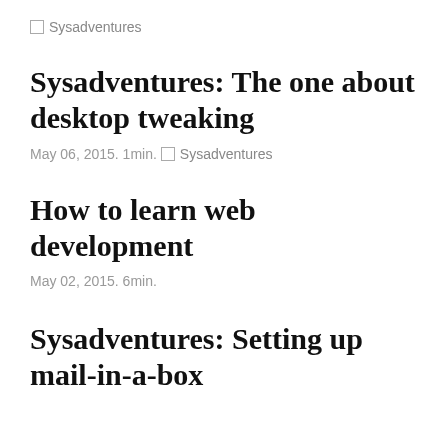□ Sysadventures
Sysadventures: The one about desktop tweaking
May 06, 2015. 1min.
□ Sysadventures
How to learn web development
May 02, 2015. 6min.
Sysadventures: Setting up mail-in-a-box